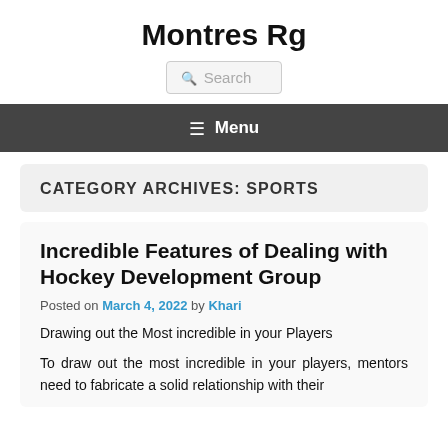Montres Rg
Search
≡ Menu
CATEGORY ARCHIVES: SPORTS
Incredible Features of Dealing with Hockey Development Group
Posted on March 4, 2022 by Khari
Drawing out the Most incredible in your Players
To draw out the most incredible in your players, mentors need to fabricate a solid relationship with their